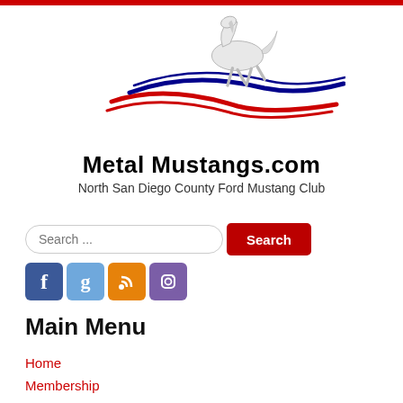[Figure (logo): Metal Mustangs.com logo with a running horse SVG and red/blue swoosh lines, site name 'Metal Mustangs.com' in bold, tagline 'North San Diego County Ford Mustang Club']
Search ...
[Figure (infographic): Social media icons row: Facebook (f), Google+ (g), RSS feed, Instagram]
Main Menu
Home
Membership
Gallery
Articles
News
Past News
Themed Mustangs
Tribute Mustangs
Member Articles